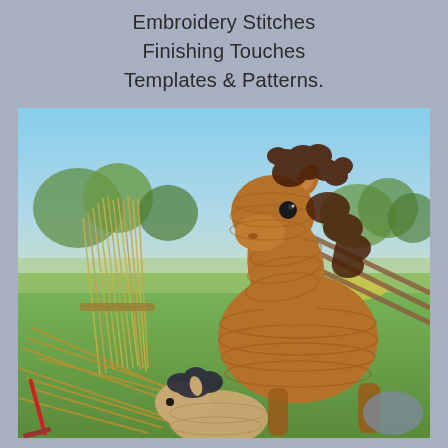Embroidery Stitches
Finishing Touches
Templates & Patterns.
[Figure (photo): A crocheted brown horse amigurumi with a curly dark brown mane, standing in front of a wooden fence with bundled straw/reeds in an outdoor farm setting. A smaller crocheted dark-maned tan/cream foal or donkey is visible in the foreground at the bottom.]